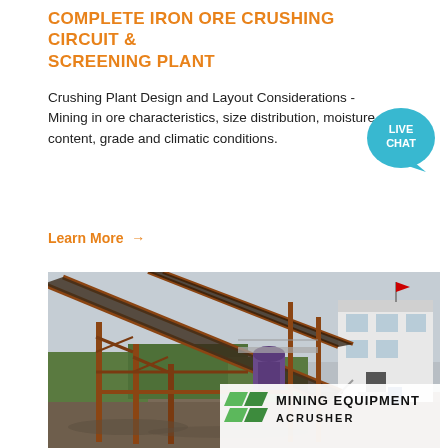COMPLETE IRON ORE CRUSHING CIRCUIT & SCREENING PLANT
Crushing Plant Design and Layout Considerations - Mining in ore characteristics, size distribution, moisture content, grade and climatic conditions.
Learn More →
[Figure (photo): Iron ore crushing circuit and screening plant facility showing large conveyor belts on steel frame structures, crushing equipment, and a white control building in the background. Foreground shows muddy ground. Bottom right corner has a Mining Equipment ACRUSHER logo overlay.]